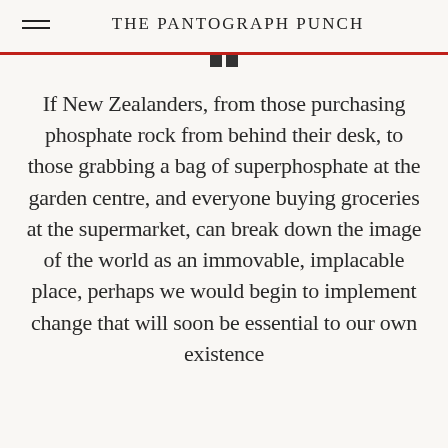THE PANTOGRAPH PUNCH
If New Zealanders, from those purchasing phosphate rock from behind their desk, to those grabbing a bag of superphosphate at the garden centre, and everyone buying groceries at the supermarket, can break down the image of the world as an immovable, implacable place, perhaps we would begin to implement change that will soon be essential to our own existence